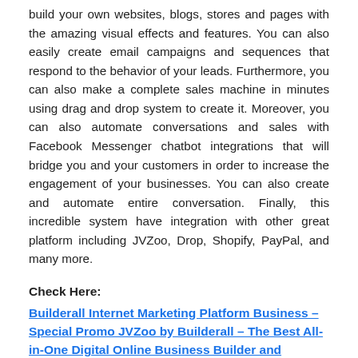build your own websites, blogs, stores and pages with the amazing visual effects and features. You can also easily create email campaigns and sequences that respond to the behavior of your leads. Furthermore, you can also make a complete sales machine in minutes using drag and drop system to create it. Moreover, you can also automate conversations and sales with Facebook Messenger chatbot integrations that will bridge you and your customers in order to increase the engagement of your businesses. You can also create and automate entire conversation. Finally, this incredible system have integration with other great platform including JVZoo, Drop, Shopify, PayPal, and many more.
Check Here:
Builderall Internet Marketing Platform Business – Special Promo JVZoo by Builderall – The Best All-in-One Digital Online Business Builder and